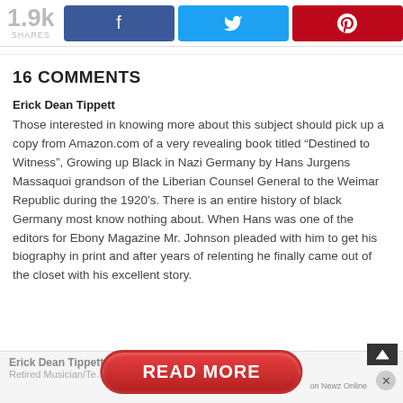[Figure (infographic): Social share bar showing 1.9k shares with Facebook (blue), Twitter (light blue), and Pinterest (red) buttons]
16 COMMENTS
Erick Dean Tippett
Those interested in knowing more about this subject should pick up a copy from Amazon.com of a very revealing book titled “Destined to Witness”, Growing up Black in Nazi Germany by Hans Jurgens Massaquoi grandson of the Liberian Counsel General to the Weimar Republic during the 1920’s. There is an entire history of black Germany most know nothing about. When Hans was one of the editors for Ebony Magazine Mr. Johnson pleaded with him to get his biography in print and after years of relenting he finally came out of the closet with his excellent story.
Erick Dean Tippett
Retired Musician/Te...